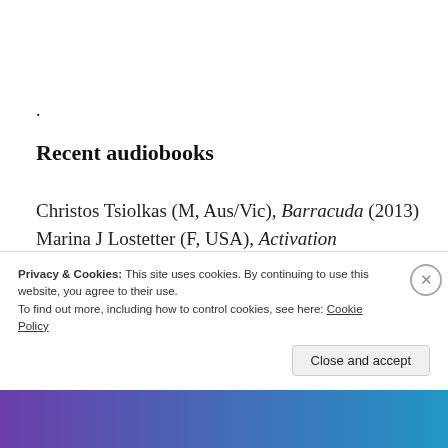.
Recent audiobooks
Christos Tsiolkas (M, Aus/Vic), Barracuda (2013)
Marina J Lostetter (F, USA), Activation Degradation (2021) – SF
Louise Erdrich (F, USA), The Plague of Doves (2008)
Privacy & Cookies: This site uses cookies. By continuing to use this website, you agree to their use.
To find out more, including how to control cookies, see here: Cookie Policy
Close and accept